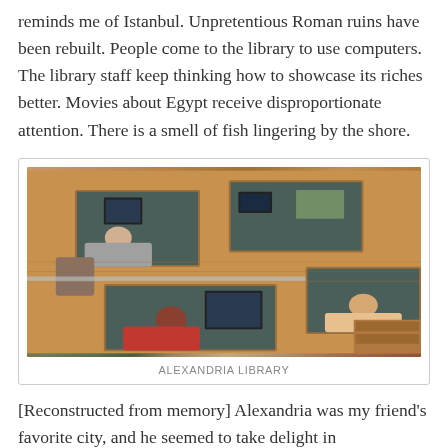reminds me of Istanbul. Unpretentious Roman ruins have been rebuilt. People come to the library to use computers. The library staff keep thinking how to showcase its riches better. Movies about Egypt receive disproportionate attention. There is a smell of fish lingering by the shore.
[Figure (photo): Overhead view of the Alexandria Library interior showing wooden study desks with dark work surfaces, students sitting at computers and studying, wooden floors, and glass partitions.]
ALEXANDRIA LIBRARY
[Reconstructed from memory] Alexandria was my friend's favorite city, and he seemed to take delight in